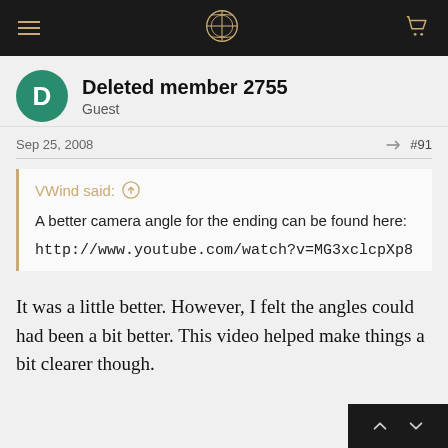Navigation header with menu, logo, and cart icons
Deleted member 2755
Guest
Sep 25, 2008   #91
VWind said: ↑

A better camera angle for the ending can be found here:

http://www.youtube.com/watch?v=MG3xclcpXp8
It was a little better. However, I felt the angles could had been a bit better. This video helped make things a bit clearer though.